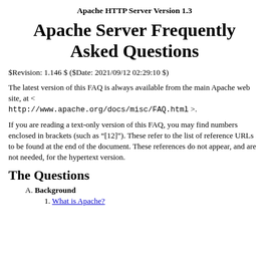Apache HTTP Server Version 1.3
Apache Server Frequently Asked Questions
$Revision: 1.146 $ ($Date: 2021/09/12 02:29:10 $)
The latest version of this FAQ is always available from the main Apache web site, at < http://www.apache.org/docs/misc/FAQ.html >.
If you are reading a text-only version of this FAQ, you may find numbers enclosed in brackets (such as "[12]"). These refer to the list of reference URLs to be found at the end of the document. These references do not appear, and are not needed, for the hypertext version.
The Questions
A. Background
1. What is Apache?